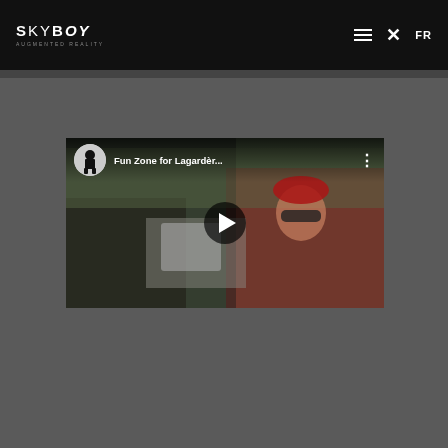SkyBoy - Augmented Reality | Navigation: FR
[Figure (screenshot): YouTube embedded video thumbnail showing a woman in red clothing outdoors, with video title 'Fun Zone for Lagardèr...' and a play button overlay. The video is from the SkyBoy channel.]